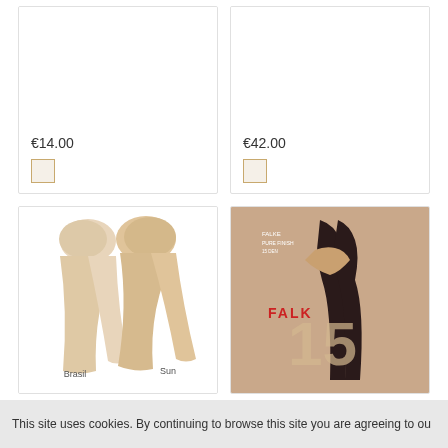€14.00
€42.00
[Figure (photo): Two pairs of sheer nude stockings on legs, labeled Brasil and Sun]
[Figure (photo): FALKE sheer stockings product packaging with model wearing dark stockings, showing '15' branding]
This site uses cookies. By continuing to browse this site you are agreeing to ou